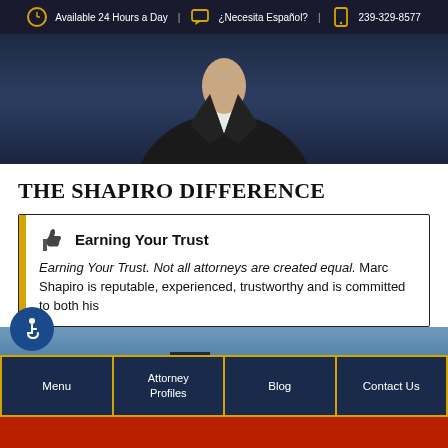Available 24 Hours a Day | ¿Necesita Español? | 239-329-8577
[Figure (photo): Attorney in dark suit and white shirt, torso visible against dark blue background]
THE SHAPIRO DIFFERENCE
Earning Your Trust
Earning Your Trust. Not all attorneys are created equal. Marc Shapiro is reputable, experienced, trustworthy and is committed to both his
[Figure (other): Navigation bar with four buttons: Menu, Attorney Profiles, Blog, Contact Us over city background]
[Figure (other): Red bar at bottom of page]